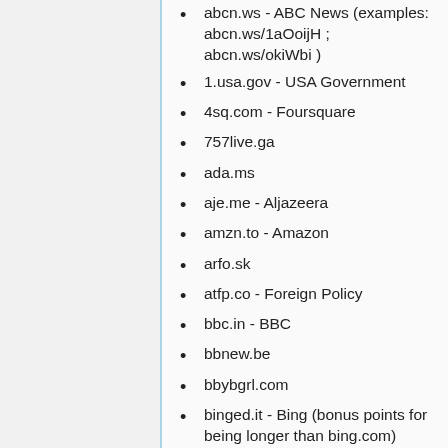abcn.ws - ABC News (examples: abcn.ws/1aOoijH ; abcn.ws/okiWbi )
1.usa.gov - USA Government
4sq.com - Foursquare
757live.ga
ada.ms
aje.me - Aljazeera
amzn.to - Amazon
arfo.sk
atfp.co - Foreign Policy
bbc.in - BBC
bbnew.be
bbybgrl.com
binged.it - Bing (bonus points for being longer than bing.com)
bnkrpt.am - Bankrupting America
bzfd.it - Buzzfeed
calltrack.es
canva.link